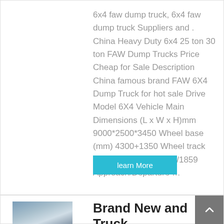6x4 faw dump truck, 6x4 faw dump truck Suppliers and . China Heavy Duty 6x4 25 ton 30 ton FAW Dump Trucks Price Cheap for Sale Description China famous brand FAW 6X4 Dump Truck for hot sale Drive Model 6X4 Vehicle Main Dimensions (L x W x H)mm 9000*2500*3450 Wheel base (mm) 4300+1350 Wheel track (front/rear) (mm) 1500/1859 Approach/Departure …
[Figure (other): Button labeled 'learn More' with cyan/blue background]
[Figure (photo): Thumbnail photo of a truck]
Brand New and Truck